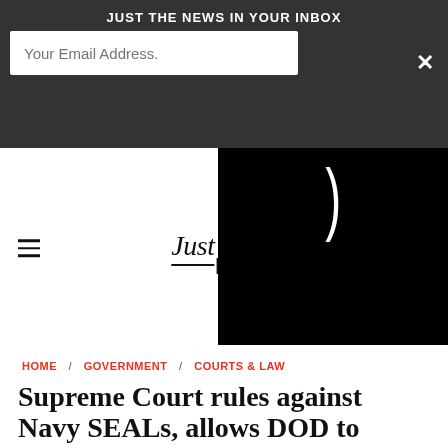JUST THE NEWS IN YOUR INBOX
[Figure (screenshot): Email newsletter subscription banner with dark background, email input field, close button, and an overlapping black video player panel with a loading spinner]
[Figure (logo): Just the News logo with italic serif text and Capitol building silhouette icon]
HOME / GOVERNMENT / COURTS & LAW
Supreme Court rules against Navy SEALs, allows DOD to restrict deployment based on vax status